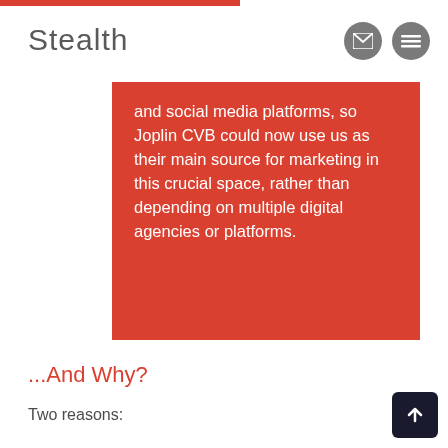[Figure (logo): Stealth company logo text in grey]
and social media platforms, so Joplin CVB could now use us as their main source for marketing in this crucial space, rather than depending on multiple digital agencies or platforms.
...And Why?
Two reasons: